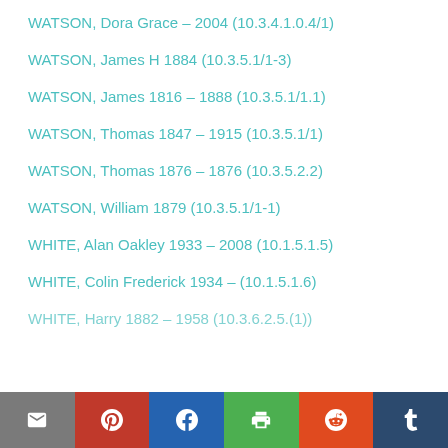WATSON, Dora Grace – 2004 (10.3.4.1.0.4/1)
WATSON, James H 1884 (10.3.5.1/1-3)
WATSON, James 1816 – 1888 (10.3.5.1/1.1)
WATSON, Thomas 1847 – 1915 (10.3.5.1/1)
WATSON, Thomas 1876 – 1876 (10.3.5.2.2)
WATSON, William 1879 (10.3.5.1/1-1)
WHITE, Alan Oakley 1933 – 2008 (10.1.5.1.5)
WHITE, Colin Frederick 1934 –  (10.1.5.1.6)
WHITE, Harry 1882 – 1958 (10.3.6.2.5.(1))